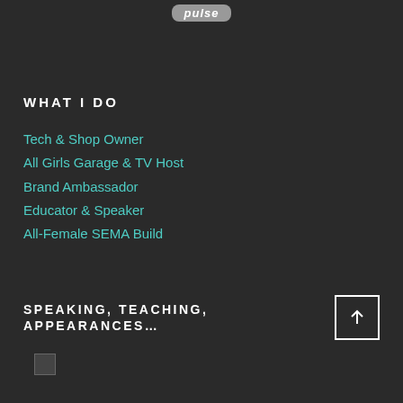[Figure (logo): Logo at top center with rounded rectangle, appears to be a website or brand logo in gray/white italic text]
WHAT I DO
Tech & Shop Owner
All Girls Garage & TV Host
Brand Ambassador
Educator & Speaker
All-Female SEMA Build
SPEAKING, TEACHING, APPEARANCES…
[Figure (photo): Small broken/loading image at bottom left]